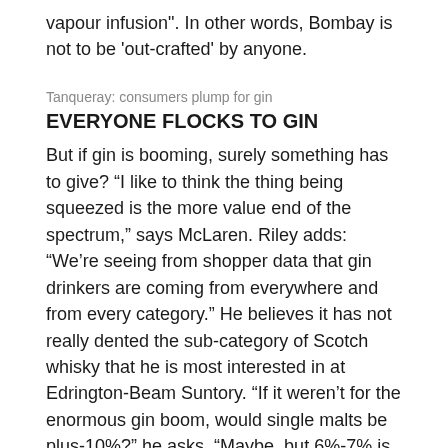vapour infusion". In other words, Bombay is not to be ‘out-crafted’ by anyone.
Tanqueray: consumers plump for gin
EVERYONE FLOCKS TO GIN
But if gin is booming, surely something has to give? “I like to think the thing being squeezed is the more value end of the spectrum,” says McLaren. Riley adds: “We’re seeing from shopper data that gin drinkers are coming from everywhere and from every category.” He believes it has not really dented the sub-category of Scotch whisky that he is most interested in at Edrington-Beam Suntory. “If it weren’t for the enormous gin boom, would single malts be plus-10%?” he asks. “Maybe, but 6%-7% is pretty good.”